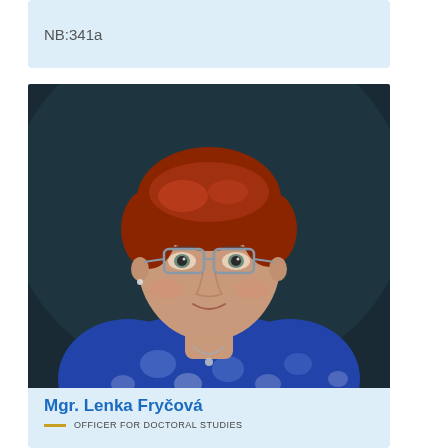NB:341a
[Figure (photo): Portrait photo of Mgr. Lenka Fryčová, a woman with short red hair and glasses, wearing a blue and white floral top with a necklace, photographed against a dark background.]
Mgr. Lenka Fryčová
OFFICER FOR DOCTORAL STUDIES